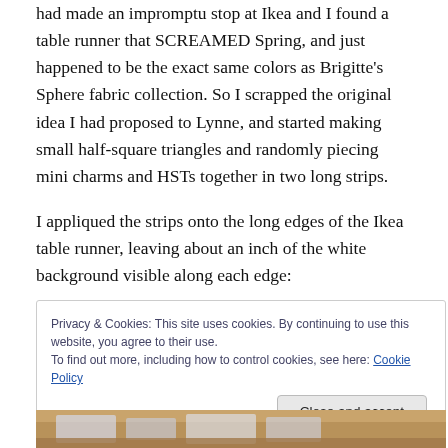had made an impromptu stop at Ikea and I found a table runner that SCREAMED Spring, and just happened to be the exact same colors as Brigitte's Sphere fabric collection. So I scrapped the original idea I had proposed to Lynne, and started making small half-square triangles and randomly piecing mini charms and HSTs together in two long strips.
I appliqued the strips onto the long edges of the Ikea table runner, leaving about an inch of the white background visible along each edge:
Privacy & Cookies: This site uses cookies. By continuing to use this website, you agree to their use.
To find out more, including how to control cookies, see here: Cookie Policy
Close and accept
[Figure (photo): Bottom edge of a photo showing a table runner on a wooden surface with colorful fabric pieces visible]